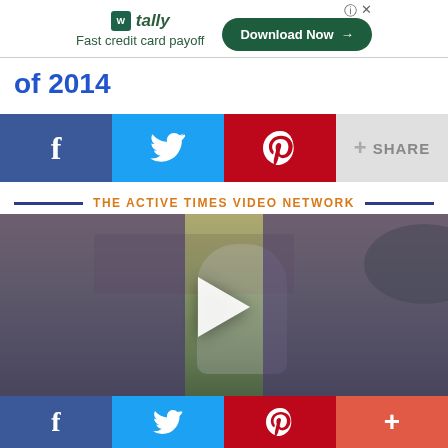[Figure (other): Tally advertisement banner: logo with green square icon, text 'tally Fast credit card payoff', and a dark green 'Download Now →' button]
of 2014
[Figure (other): Social share buttons row: Facebook (blue), Twitter (light blue), Pinterest (red), and Share (gray) buttons]
THE ACTIVE TIMES VIDEO NETWORK
[Figure (photo): Video thumbnail showing an elderly person wearing a mask outdoors, holding a sign, with a house in the background. Purple overlays on sides, white play button in center.]
[Figure (other): Bottom social bar: Facebook (dark blue), Twitter (blue), Pinterest (red), More/Plus (orange-red) buttons]